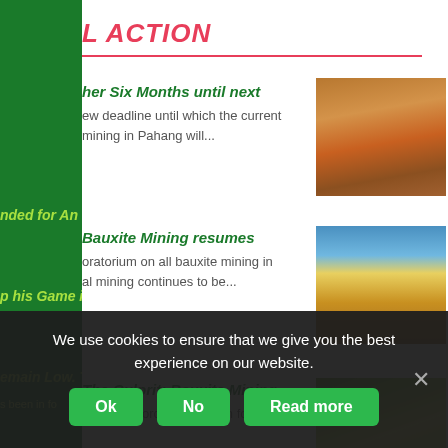L ACTION
nded for Another Six Months until next
ew deadline until which the current mining in Pahang will...
[Figure (photo): Dump trucks on a dusty bauxite mining site with a person standing nearby]
p his Game if Bauxite Mining resumes
oratorium on all bauxite mining in al mining continues to be...
[Figure (photo): Yellow excavator loading a dump truck on a bauxite mining site under blue sky]
emain Low. The Culprit: Bauxite Mining
s been in force in Kuantan for almost
[Figure (photo): Close-up of durian fruits]
We use cookies to ensure that we give you the best experience on our website.
Ok
No
Read more